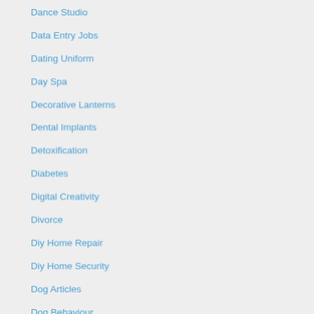Dance Studio
Data Entry Jobs
Dating Uniform
Day Spa
Decorative Lanterns
Dental Implants
Detoxification
Diabetes
Digital Creativity
Divorce
Diy Home Repair
Diy Home Security
Dog Articles
Dog Behaviour
Dog Care